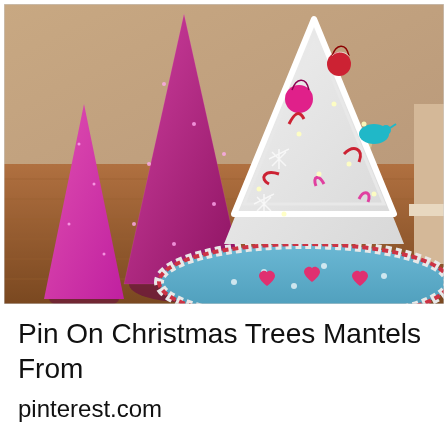[Figure (photo): A decorated white Christmas tree with red, pink, and teal ornaments, ribbons, and lights, sitting on a light blue tree skirt with pink heart appliques and red-and-white striped border. To the left are two pink/magenta glitter Christmas tree cone decorations of different sizes. The scene is set on a hardwood floor in a room corner.]
Pin On Christmas Trees Mantels From pinterest.com